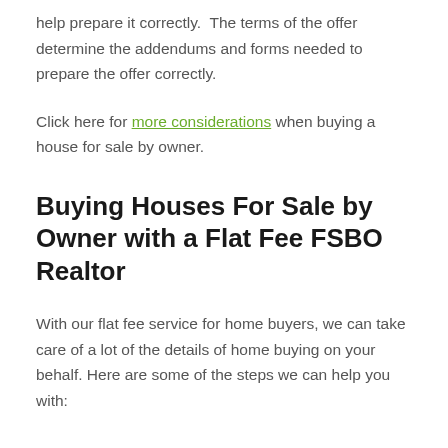help prepare it correctly. The terms of the offer determine the addendums and forms needed to prepare the offer correctly.
Click here for more considerations when buying a house for sale by owner.
Buying Houses For Sale by Owner with a Flat Fee FSBO Realtor
With our flat fee service for home buyers, we can take care of a lot of the details of home buying on your behalf. Here are some of the steps we can help you with: